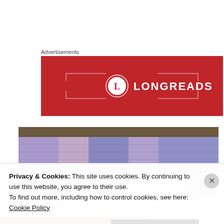Advertisements
[Figure (logo): Longreads advertisement banner - red background with white L circle logo and LONGREADS text with decorative bracket frame]
[Figure (photo): Close-up photo of a crocheted fabric in purple/lavender and pink tones, with what appears to be a white/light colored book or paper visible at the bottom]
Privacy & Cookies: This site uses cookies. By continuing to use this website, you agree to their use.
To find out more, including how to control cookies, see here:
Cookie Policy
Close and accept